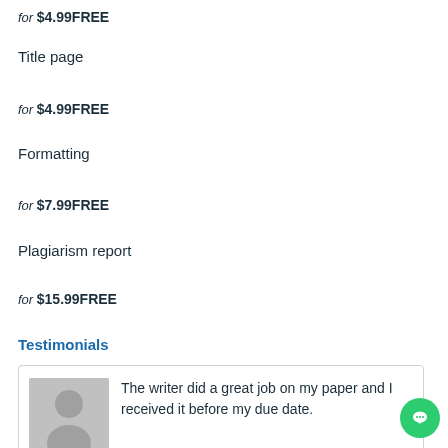for $4.99FREE
Title page
for $4.99FREE
Formatting
for $7.99FREE
Plagiarism report
for $15.99FREE
Testimonials
The writer did a great job on my paper and I received it before my due date.